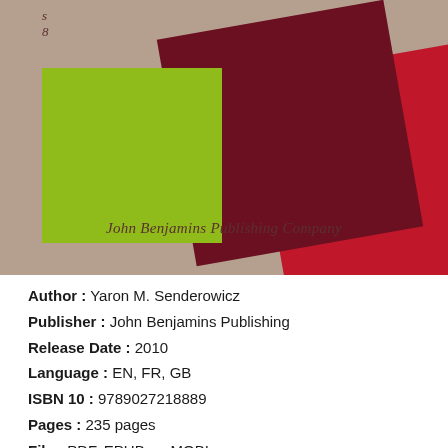[Figure (illustration): Book cover with a tan/beige background featuring geometric shapes: a lime green rectangle, a dark red rotated square, and a crimson rotated square overlapping. Text reads 'John Benjamins Publishing Company' in italic serif font at the bottom of the cover. Small italic text visible at top left.]
Author : Yaron M. Senderowicz
Publisher : John Benjamins Publishing
Release Date : 2010
Language : EN, FR, GB
ISBN 10 : 9789027218889
Pages : 235 pages
File : PDF, EPUB, or MOBI